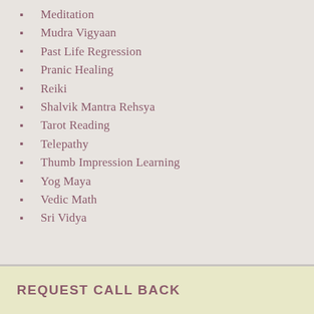Meditation
Mudra Vigyaan
Past Life Regression
Pranic Healing
Reiki
Shalvik Mantra Rehsya
Tarot Reading
Telepathy
Thumb Impression Learning
Yog Maya
Vedic Math
Sri Vidya
REQUEST CALL BACK